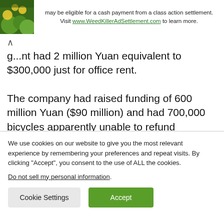[Figure (other): Advertisement banner with plant image and text about a class action settlement for WeedKillerAdSettlement.com]
g...nt had 2 million Yuan equivalent to $300,000 just for office rent.

The company had raised funding of 600 million Yuan ($90 million) and had 700,000 bicycles apparently unable to refund deposits according to a commentator on Webio.
We use cookies on our website to give you the most relevant experience by remembering your preferences and repeat visits. By clicking “Accept”, you consent to the use of ALL the cookies.
Do not sell my personal information.